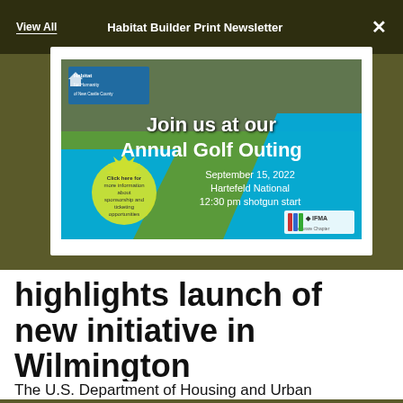View All   Habitat Builder Print Newsletter
[Figure (infographic): Habitat for Humanity golf outing promotional banner. Text reads: 'Join us at our Annual Golf Outing / September 15, 2022 / Hartefeld National / 12:30 pm shotgun start'. Yellow starburst with 'Click here for more information about sponsorship and ticketing opportunities'. IFMA logo at bottom right. Background shows golf carts on a course.]
highlights launch of new initiative in Wilmington
The U.S. Department of Housing and Urban